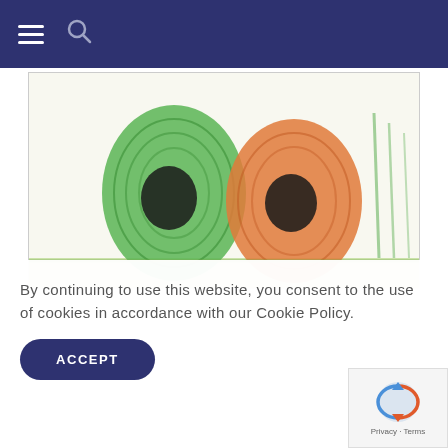Navigation bar with hamburger menu and search icon
[Figure (illustration): A child's crayon drawing showing two egg-shaped figures — one colored green with a black center, one colored orange with a black center — against a white background with green ground line.]
By continuing to use this website, you consent to the use of cookies in accordance with our Cookie Policy.
ACCEPT